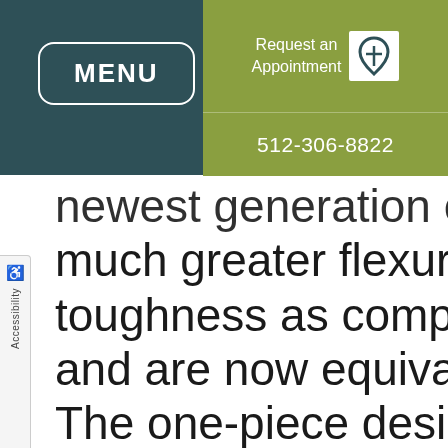MENU | Request an Appointment | 512-306-8822
newest generation of zirconia much greater flexural strength toughness as compared to previous and are now equivalent to titanium. The one-piece design has some limitations when compared to titanium implants (implant +